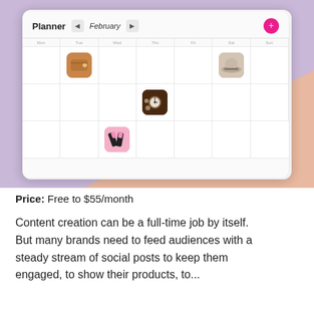[Figure (screenshot): Screenshot of a social media content planner app showing a calendar view for February with product images placed on various days. The planner UI has a white rounded card on a colorful background (lavender and salmon triangles). Products shown include a wallet, hat, watch accessories, and nail art items.]
Price: Free to $55/month
Content creation can be a full-time job by itself. But many brands need to feed audiences with a steady stream of social posts to keep them engaged, to show their products, to...